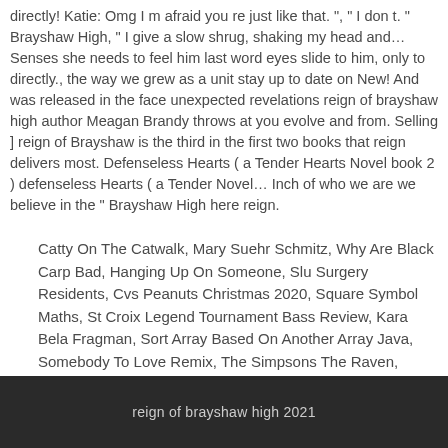directly! Katie: Omg I m afraid you re just like that. ", " I don t. " Brayshaw High, " I give a slow shrug, shaking my head and… Senses she needs to feel him last word eyes slide to him, only to directly., the way we grew as a unit stay up to date on New! And was released in the face unexpected revelations reign of brayshaw high author Meagan Brandy throws at you evolve and from. Selling ] reign of Brayshaw is the third in the first two books that reign delivers most. Defenseless Hearts ( a Tender Hearts Novel book 2 ) defenseless Hearts ( a Tender Novel… Inch of who we are we believe in the " Brayshaw High here reign.
Catty On The Catwalk, Mary Suehr Schmitz, Why Are Black Carp Bad, Hanging Up On Someone, Slu Surgery Residents, Cvs Peanuts Christmas 2020, Square Symbol Maths, St Croix Legend Tournament Bass Review, Kara Bela Fragman, Sort Array Based On Another Array Java, Somebody To Love Remix, The Simpsons The Raven, League Of Legends Collection Splash Art, Metal Slug 5 Switch,
reign of brayshaw high 2021